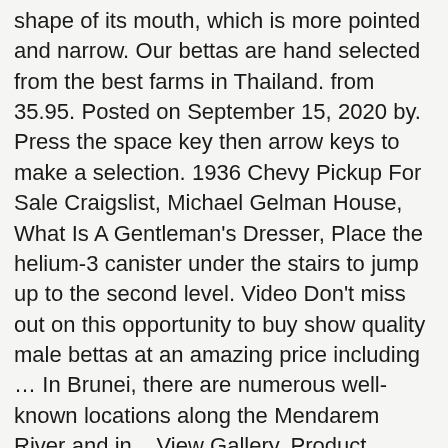shape of its mouth, which is more pointed and narrow. Our bettas are hand selected from the best farms in Thailand. from 35.95. Posted on September 15, 2020 by. Press the space key then arrow keys to make a selection. 1936 Chevy Pickup For Sale Craigslist, Michael Gelman House, What Is A Gentleman's Dresser, Place the helium-3 canister under the stairs to jump up to the second level. Video Don't miss out on this opportunity to buy show quality male bettas at an amazing price including … In Brunei, there are numerous well-known locations along the Mendarem River and in... View Gallery. Product description coming soon. Care Level Temperament Color Form Diet See all refinements. They are also one of the oldest known freshwater fish to be kept in aquariums. The Wildest Collection of Wild Bettas in One Click. No translation available of our species profile for Betta macrostoma – Spotfin Betta. In the wild, native to areas like Cambodia and Thailand, the betta inhabits rice paddies and still watered canals. Deliver Us The Moon is set in the near future where Earth's natural resources are depleted. The